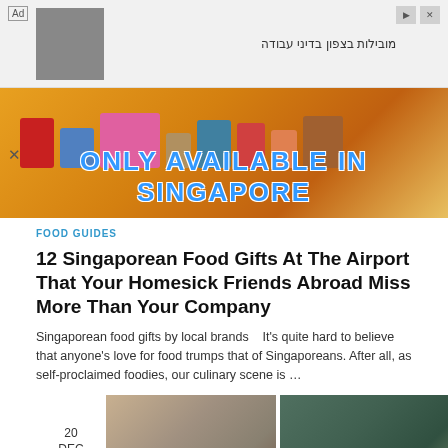[Figure (screenshot): Advertisement banner with Hebrew text 'מובילות בצפון בדיני עבודה' and an image of a microphone/camera, with play and close buttons]
[Figure (photo): Banner image of Singapore food gifts with colorful packaging on a wooden surface, with text 'ONLY AVAILABLE IN SINGAPORE' in blue bold letters]
FOOD GUIDES
12 Singaporean Food Gifts At The Airport That Your Homesick Friends Abroad Miss More Than Your Company
Singaporean food gifts by local brands   It's quite hard to believe that anyone's love for food trumps that of Singaporeans. After all, as self-proclaimed foodies, our culinary scene is …
20
DEC
2017
[Figure (photo): Thumbnail image of a hotel room interior with a woman]
[Figure (photo): Thumbnail image of a rooftop or outdoor area with tropical plants and two women sitting]